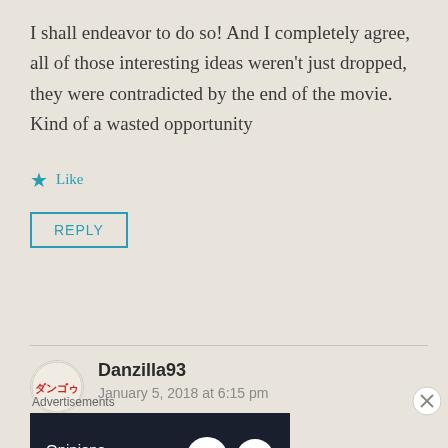I shall endeavor to do so! And I completely agree, all of those interesting ideas weren't just dropped, they were contradicted by the end of the movie. Kind of a wasted opportunity
Like
REPLY
Danzilla93
January 5, 2018 at 6:15 pm
Speaking of spoilers:
Advertisements
[Figure (screenshot): WordPress advertisement banner: 'Opinions. We all have them!' with WordPress logo and another logo on dark navy background]